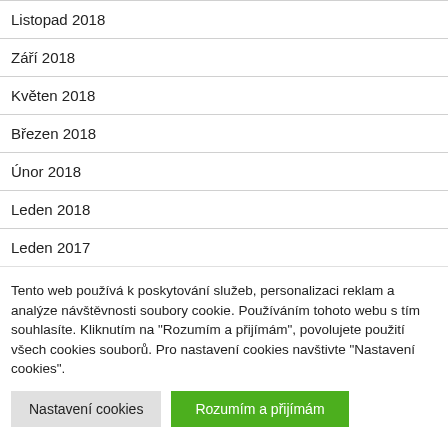Listopad 2018
Září 2018
Květen 2018
Březen 2018
Únor 2018
Leden 2018
Leden 2017
Tento web používá k poskytování služeb, personalizaci reklam a analýze návštěvnosti soubory cookie. Používáním tohoto webu s tím souhlasíte. Kliknutím na "Rozumím a přijímám", povolujete použití všech cookies souborů. Pro nastavení cookies navštivte "Nastavení cookies".
Nastavení cookies | Rozumím a přijímám